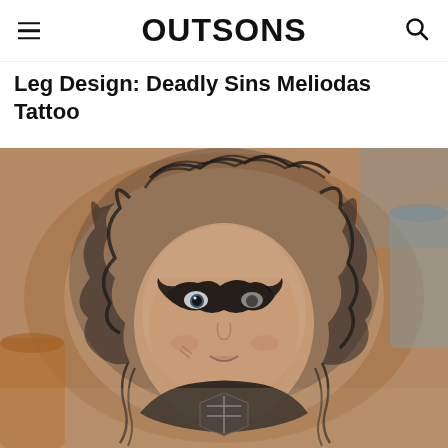OUTSONS
Leg Design: Deadly Sins Meliodas Tattoo
[Figure (photo): Close-up photograph of a tattoo on a person's leg/arm showing an anime-style character (Meliodas from Seven Deadly Sins) with wild hair, a dark mark over one eye, and detailed black and grey ink work. The tattoo is photographed against a background with objects visible around the arm.]